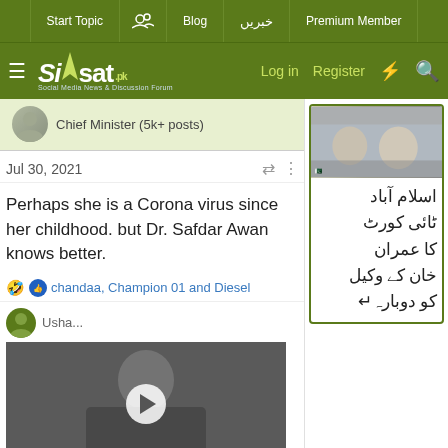Siasat.pk — Social Media News & Discussion Forum — Navigation: Start Topic | Blog | خبریں | Premium Member | Log in | Register
Chief Minister (5k+ posts)
Jul 30, 2021
Perhaps she is a Corona virus since her childhood. but Dr. Safdar Awan knows better.
chandaa, Champion 01 and Diesel
[Figure (photo): Video thumbnail showing a person in dark clothing and face mask]
[Figure (photo): News card image showing two men in suits, with Urdu headline text about Islamabad High Court and Imran Khan's lawyer]
اسلام آباد ٹائی کورٹ کا عمران خان کے وکیل کو دوبارہ